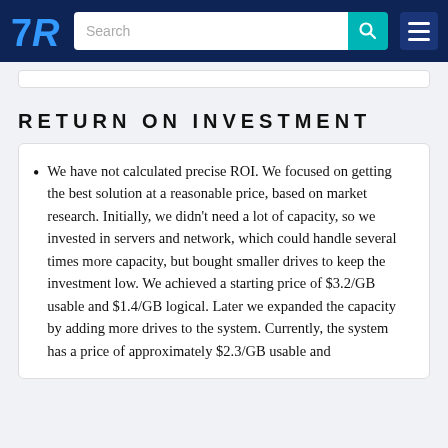TrustRadius logo, Search bar, Menu button
RETURN ON INVESTMENT
We have not calculated precise ROI. We focused on getting the best solution at a reasonable price, based on market research. Initially, we didn't need a lot of capacity, so we invested in servers and network, which could handle several times more capacity, but bought smaller drives to keep the investment low. We achieved a starting price of $3.2/GB usable and $1.4/GB logical. Later we expanded the capacity by adding more drives to the system. Currently, the system has a price of approximately $2.3/GB usable and